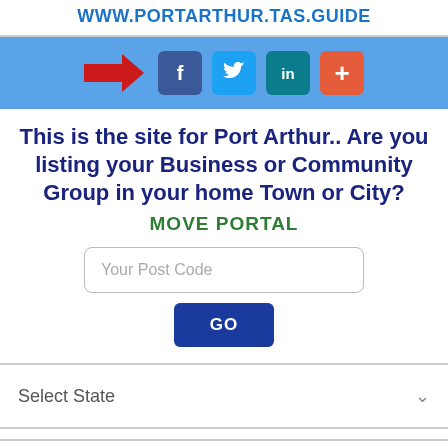WWW.PORTARTHUR.TAS.GUIDE
[Figure (screenshot): Social sharing bar with a red arrow pointing right and social media buttons: f (Facebook, dark blue), bird icon (Twitter, light blue), in (LinkedIn, teal), + (more, orange/red)]
This is the site for Port Arthur.. Are you listing your Business or Community Group in your home Town or City?
MOVE PORTAL
Your Post Code
GO
Select State
Please Select State
GO THERE